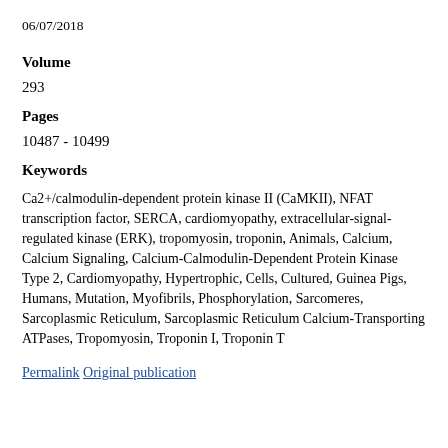06/07/2018
Volume
293
Pages
10487 - 10499
Keywords
Ca2+/calmodulin-dependent protein kinase II (CaMKII), NFAT transcription factor, SERCA, cardiomyopathy, extracellular-signal-regulated kinase (ERK), tropomyosin, troponin, Animals, Calcium, Calcium Signaling, Calcium-Calmodulin-Dependent Protein Kinase Type 2, Cardiomyopathy, Hypertrophic, Cells, Cultured, Guinea Pigs, Humans, Mutation, Myofibrils, Phosphorylation, Sarcomeres, Sarcoplasmic Reticulum, Sarcoplasmic Reticulum Calcium-Transporting ATPases, Tropomyosin, Troponin I, Troponin T
Permalink Original publication